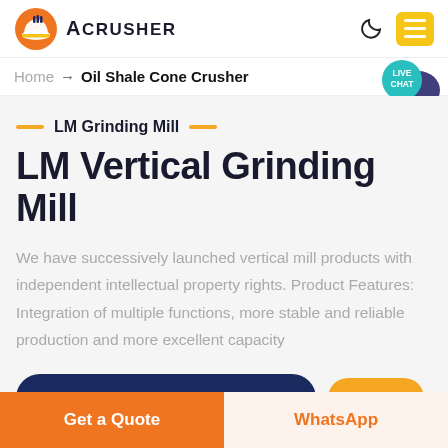[Figure (logo): Acrusher brand logo with orange hard-hat helmet icon and bold text ACRUSHER]
Home → Oil Shale Cone Crusher
LM Grinding Mill
LM Vertical Grinding Mill
We have successively launched vertical mill products with independent intellectual property rights. Product Features: Integration of multiple functions, more stable and reliable production and more excellent capacity